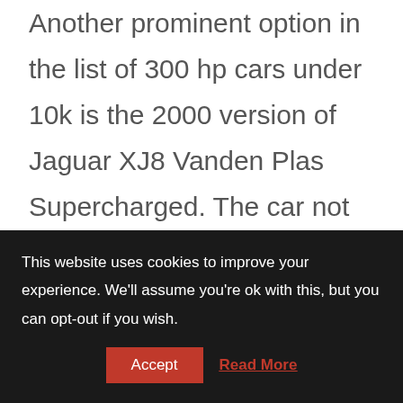Another prominent option in the list of 300 hp cars under 10k is the 2000 version of Jaguar XJ8 Vanden Plas Supercharged. The car not only possess timeless styling, it is also equipped with a powerful V8 engine that delivers 370 hp of maximum power and 387 lb-ft of peak torque. The 2000
This website uses cookies to improve your experience. We'll assume you're ok with this, but you can opt-out if you wish.
Accept   Read More